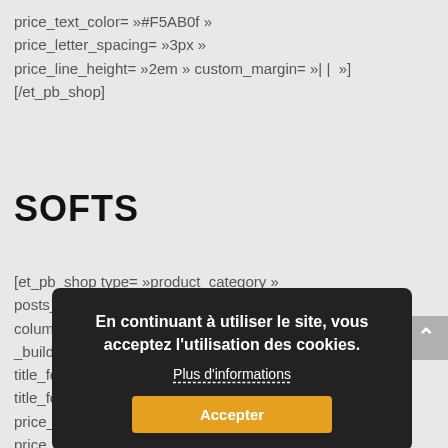price_text_color= »#F5AB0f »
price_letter_spacing= »3px »
price_line_height= »2em » custom_margin= »| | »]
[/et_pb_shop]
SOFTS
[et_pb_shop type= »product_category »
posts_number= »50" include_categories= »28"
columns_number= »4" orderby= »date-desc »
_builder_version=
title_font= »Cairo|
title_font_size=
price_font= »Cairo|
price_text_color= »#F5A
price_letter_spacing= »3px »
price_line_height= »2em » custom_margin= »| | »]
En continuant à utiliser le site, vous acceptez l'utilisation des cookies.
Plus d'informations
Accepter